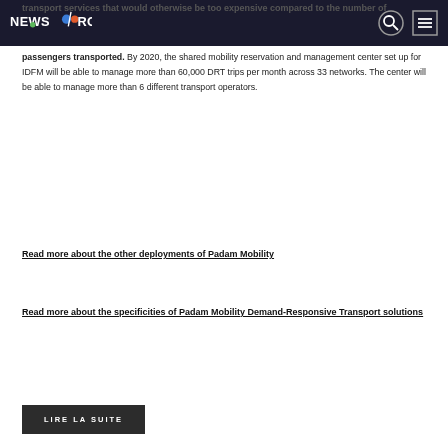NEWSROOM
transport services that would otherwise be too expensive compared to the number of passengers transported. By 2020, the shared mobility reservation and management center set up for IDFM will be able to manage more than 60,000 DRT trips per month across 33 networks. The center will be able to manage more than 6 different transport operators.
Read more about the other deployments of Padam Mobility
Read more about the specificities of Padam Mobility Demand-Responsive Transport solutions
LIRE LA SUITE